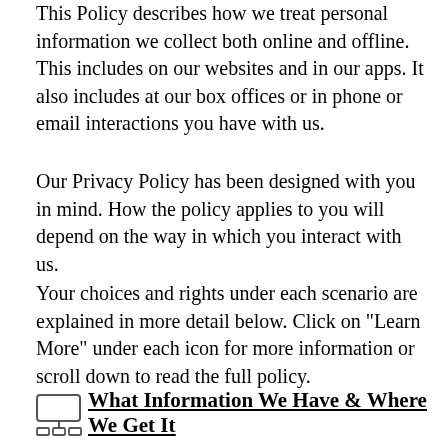This Policy describes how we treat personal information we collect both online and offline. This includes on our websites and in our apps. It also includes at our box offices or in phone or email interactions you have with us.
Our Privacy Policy has been designed with you in mind. How the policy applies to you will depend on the way in which you interact with us.
Your choices and rights under each scenario are explained in more detail below. Click on "Learn More" under each icon for more information or scroll down to read the full policy.
What Information We Have & Where We Get It